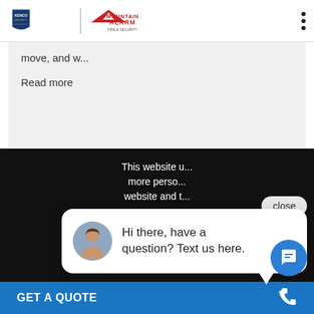[Figure (logo): Kenco Security and Mountain Alarm Fire & Security combined logo in page header]
move, and w...
Read more
Jun 23, 2021
close
This website u... more perso... website and t...
Hi there, have a question? Text us here.
✓ Accept
GET A QUOTE